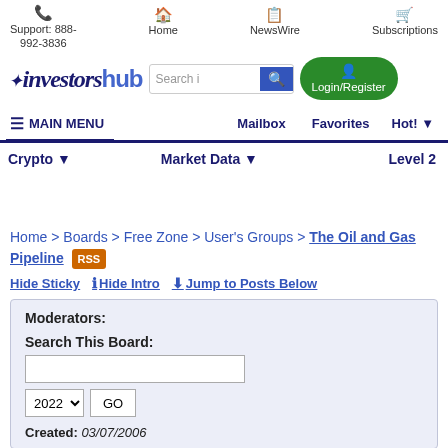Support: 888-992-3836 | Home | NewsWire | Subscriptions
[Figure (logo): InvestorsHub logo with search bar and Login/Register button]
MAIN MENU | Mailbox | Favorites | Hot!
Crypto | Market Data | Level 2
Home > Boards > Free Zone > User's Groups > The Oil and Gas Pipeline RSS
Hide Sticky | Hide Intro | Jump to Posts Below
Moderators:
Search This Board:
[input]
2022 [GO]
Created: 03/07/2006